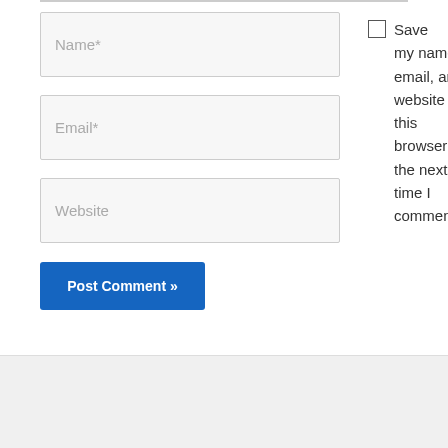[Figure (screenshot): Web form with Name*, Email*, Website input fields, a checkbox to save name/email/website in browser for next comment, a Post Comment button, and a footer with Search label, search input, Contact us button, a green chat bubble icon, and a blue Search button]
Name*
Email*
Website
Save my name, email, and website in this browser for the next time I comment.
Post Comment »
Search
Contact us
Search